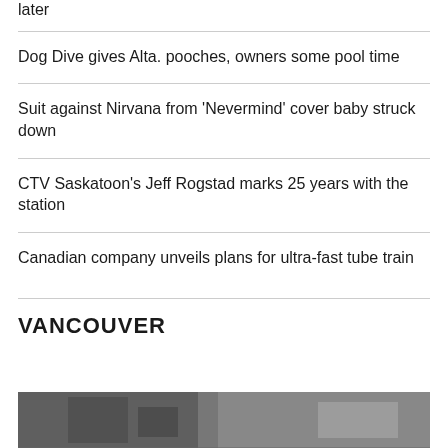later
Dog Dive gives Alta. pooches, owners some pool time
Suit against Nirvana from 'Nevermind' cover baby struck down
CTV Saskatoon's Jeff Rogstad marks 25 years with the station
Canadian company unveils plans for ultra-fast tube train
VANCOUVER
[Figure (photo): Photo strip at bottom of page showing a scene inside a building]